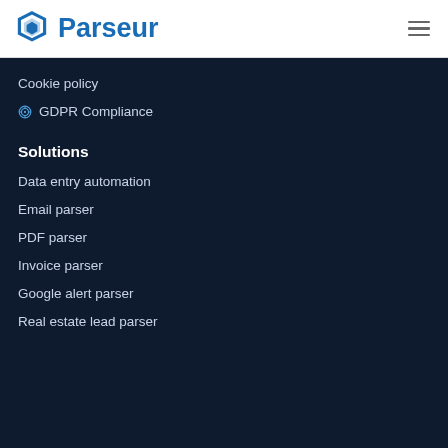Parseur
Cookie policy
🔵 GDPR Compliance
Solutions
Data entry automation
Email parser
PDF parser
Invoice parser
Google alert parser
Real estate lead parser